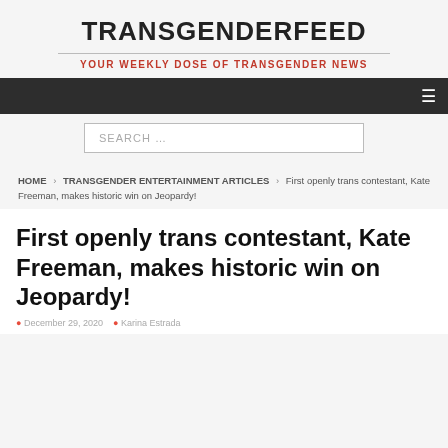TRANSGENDERFEED
YOUR WEEKLY DOSE OF TRANSGENDER NEWS
SEARCH …
HOME › TRANSGENDER ENTERTAINMENT ARTICLES › First openly trans contestant, Kate Freeman, makes historic win on Jeopardy!
First openly trans contestant, Kate Freeman, makes historic win on Jeopardy!
December 29, 2020   Karina Estrada